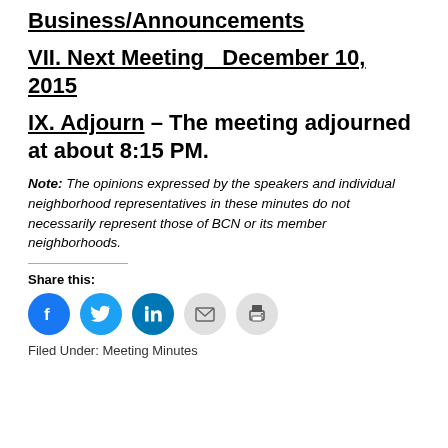Business/Announcements
VII. Next Meeting   December 10, 2015
IX. Adjourn – The meeting adjourned at about 8:15 PM.
Note: The opinions expressed by the speakers and individual neighborhood representatives in these minutes do not necessarily represent those of BCN or its member neighborhoods.
Share this:
[Figure (infographic): Social share buttons: Facebook, Twitter, LinkedIn, Email, Print]
Filed Under: Meeting Minutes